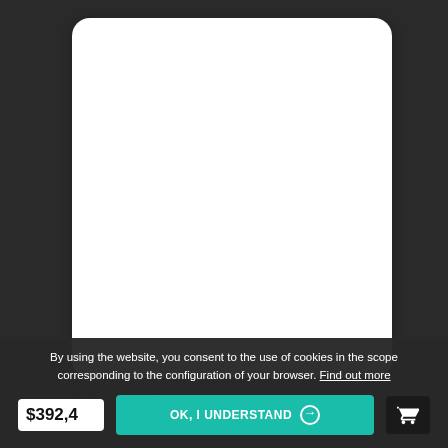[Figure (photo): White rounded card product display area — blank white rectangle with rounded corners on dark background]
The Cube Purple kit
By using the website, you consent to the use of cookies in the scope corresponding to the configuration of your browser. Find out more
$392,4
OK, I UNDERSTAND →